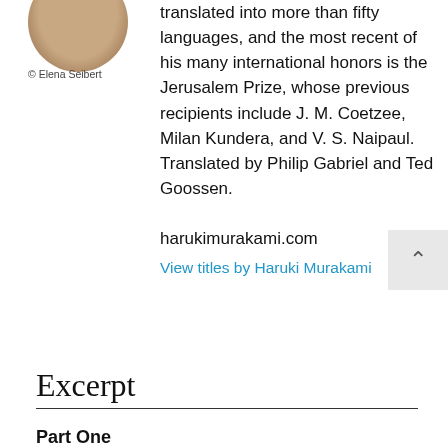[Figure (photo): Circular portrait photo of author]
© Elena Seibert
translated into more than fifty languages, and the most recent of his many international honors is the Jerusalem Prize, whose previous recipients include J. M. Coetzee, Milan Kundera, and V. S. Naipaul. Translated by Philip Gabriel and Ted Goossen.
harukimurakami.com
View titles by Haruki Murakami
Excerpt
Part One